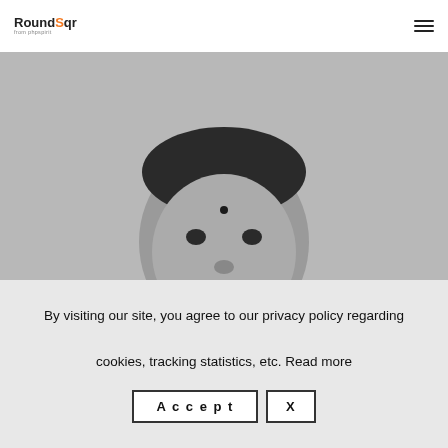RoundSqr
[Figure (photo): Black and white headshot photo of a man wearing a dark polo shirt with 'RoundSqr' logo on it, smiling at camera. He has a small bindi on his forehead and a mustache/goatee.]
By visiting our site, you agree to our privacy policy regarding cookies, tracking statistics, etc. Read more
Accept  X